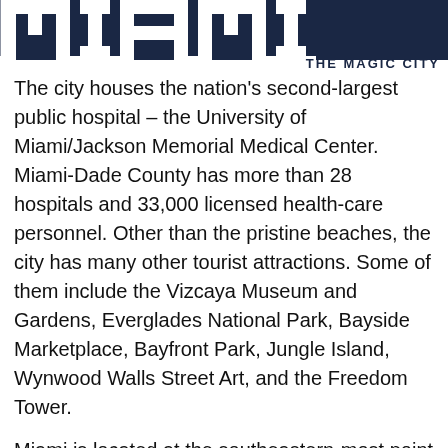MIAMI THE MAGIC CITY
The city houses the nation's second-largest public hospital – the University of Miami/Jackson Memorial Medical Center. Miami-Dade County has more than 28 hospitals and 33,000 licensed health-care personnel. Other than the pristine beaches, the city has many other tourist attractions. Some of them include the Vizcaya Museum and Gardens, Everglades National Park, Bayside Marketplace, Bayfront Park, Jungle Island, Wynwood Walls Street Art, and the Freedom Tower.
Miami is located at the southeastern-most point of the continental U.S. The city was founded in 1836 and incorporated in 1896. It is a major center for international trade and conjures the images of immigrants, tourists, and sunny beaches. In fact,